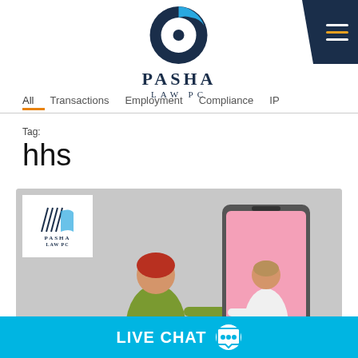[Figure (logo): Pasha Law PC logo with circular blue icon and serif text]
[Figure (other): Navigation hamburger menu icon on dark navy background]
All  Transactions  Employment  Compliance  IP
Tag:
hhs
[Figure (photo): Telehealth illustration: person reaching toward a doctor appearing on a large smartphone screen, with Pasha Law PC logo watermark in top-left corner]
LIVE CHAT